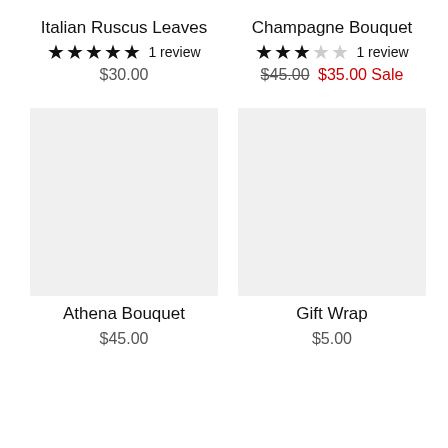Italian Ruscus Leaves
★★★★★ 1 review
$30.00
Champagne Bouquet
★★★☆☆ 1 review
$45.00 $35.00 Sale
[Figure (photo): Placeholder image for Athena Bouquet product]
[Figure (photo): Placeholder image for Gift Wrap product]
Athena Bouquet
$45.00
Gift Wrap
$5.00